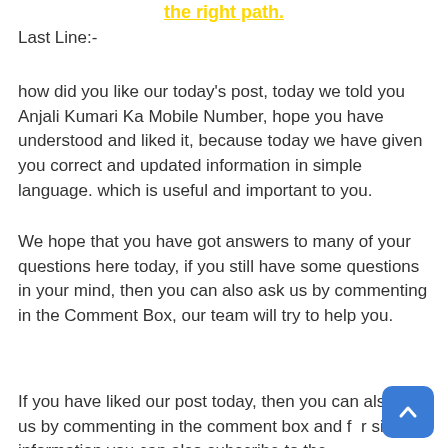the right path.
Last Line:-
how did you like our today's post, today we told you Anjali Kumari Ka Mobile Number, hope you have understood and liked it, because today we have given you correct and updated information in simple language. which is useful and important to you.
We hope that you have got answers to many of your questions here today, if you still have some questions in your mind, then you can also ask us by commenting in the Comment Box, our team will try to help you.
If you have liked our post today, then you can also tell us by commenting in the comment box and for similar information you can also subscribe to the